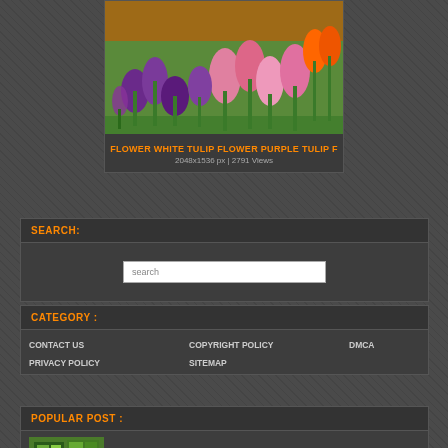[Figure (photo): Photo of pink and purple tulip flowers in a garden]
FLOWER WHITE TULIP FLOWER PURPLE TULIP F
2048x1536 px | 2791 Views
SEARCH:
search
CATEGORY :
CONTACT US
COPYRIGHT POLICY
DMCA
PRIVACY POLICY
SITEMAP
POPULAR POST :
[Figure (photo): Thumbnail of home design image with green map/garden layout]
BETTER HOMES AND GARDENS HOME DESIG
Res : 1483x1229 Pixel